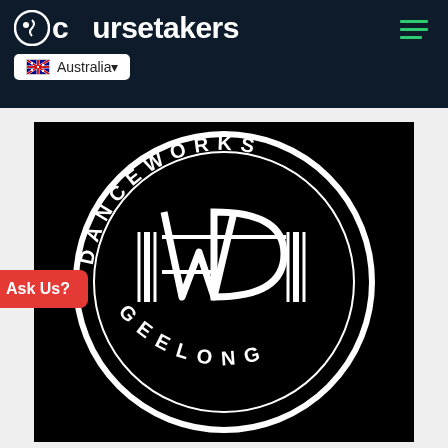coursetakers — Australia (navigation header)
[Figure (logo): Danceworks Geelong circular logo — black background with white circular text reading DANCEWORKS top arc and GEELONG bottom arc, with a stylized DW monogram in the center inside a circle with decorative line elements]
Ask Us?